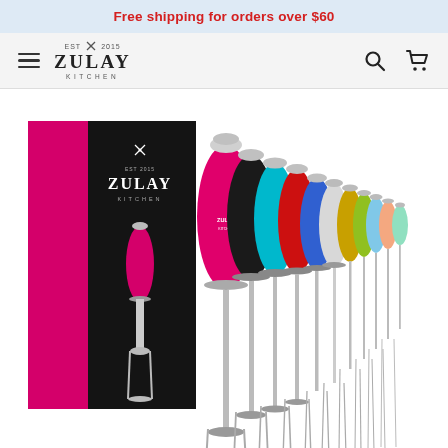Free shipping for orders over $60
[Figure (logo): Zulay Kitchen logo with EST 2015 and crossed utensils icon]
[Figure (photo): Zulay Kitchen Milk Boss milk frother product photo showing multiple colorful frothers (pink, black, teal, red, blue, silver, yellow-green, light blue, peach) fanned out next to a pink product box labeled MILKBOSS with Zulay Kitchen branding]